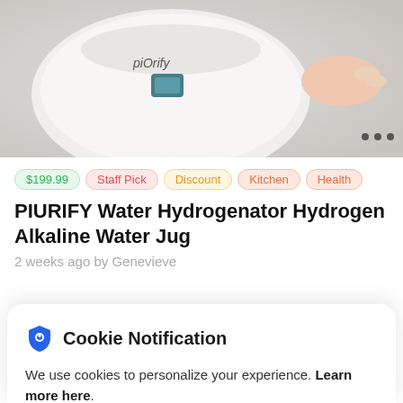[Figure (photo): Product photo of a white PIURIFY Water Hydrogenator device being touched by a hand, on a light gray background. Three dots menu icon in bottom right corner.]
$199.99
Staff Pick
Discount
Kitchen
Health
PIURIFY Water Hydrogenator Hydrogen Alkaline Water Jug
2 weeks ago by Genevieve
Cookie Notification
We use cookies to personalize your experience. Learn more here.
I Don't Accept
I Accept